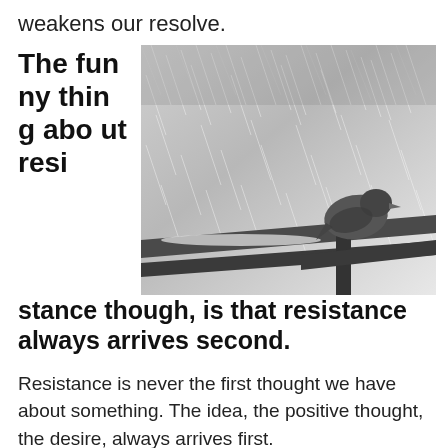weakens our resolve.
The funny thing about resi stance though, is that resistance always arrives second.
[Figure (photo): Black and white photograph of a small bird perched on a wooden bench or railing in heavy rain, with rain streaks visible across the entire image.]
Resistance is never the first thought we have about something. The idea, the positive thought, the desire, always arrives first.
We begin, changing our lives or doing